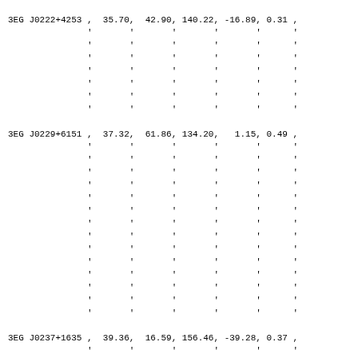| 3EG | J0222+4253 | , | 35.70, | 42.90, | 140.22, | -16.89, | 0.31 | , |
|  |  | ' | ' | ' | ' | ' | ' |
|  |  | ' | ' | ' | ' | ' | ' |
|  |  | ' | ' | ' | ' | ' | ' |
|  |  | ' | ' | ' | ' | ' | ' |
|  |  | ' | ' | ' | ' | ' | ' |
|  |  | ' | ' | ' | ' | ' | ' |
|  |  | ' | ' | ' | ' | ' | ' |
| 3EG | J0229+6151 | , | 37.32, | 61.86, | 134.20, | 1.15, | 0.49 | , |
|  |  | ' | ' | ' | ' | ' | ' |
|  |  | ' | ' | ' | ' | ' | ' |
|  |  | ' | ' | ' | ' | ' | ' |
|  |  | ' | ' | ' | ' | ' | ' |
|  |  | ' | ' | ' | ' | ' | ' |
|  |  | ' | ' | ' | ' | ' | ' |
|  |  | ' | ' | ' | ' | ' | ' |
|  |  | ' | ' | ' | ' | ' | ' |
|  |  | ' | ' | ' | ' | ' | ' |
|  |  | ' | ' | ' | ' | ' | ' |
|  |  | ' | ' | ' | ' | ' | ' |
|  |  | ' | ' | ' | ' | ' | ' |
|  |  | ' | ' | ' | ' | ' | ' |
|  |  | ' | ' | ' | ' | ' | ' |
| 3EG | J0237+1635 | , | 39.36, | 16.59, | 156.46, | -39.28, | 0.37 | , |
|  |  | ' | ' | ' | ' | ' | ' |
|  |  | ' | ' | ' | ' | ' | ' |
|  |  | ' | ' | ' | ' | ' | ' |